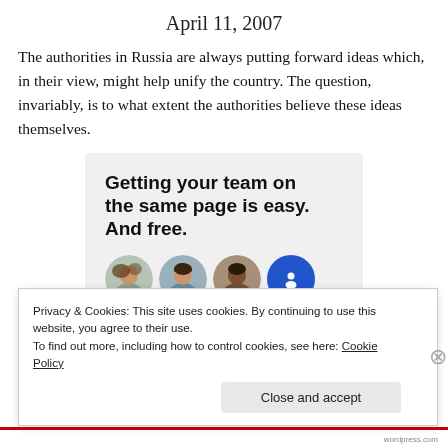April 11, 2007
The authorities in Russia are always putting forward ideas which, in their view, might help unify the country. The question, invariably, is to what extent the authorities believe these ideas themselves.
[Figure (infographic): Advertisement banner with bold headline 'Getting your team on the same page is easy. And free.' followed by circular avatar photos of people and a blue avatar icon.]
Privacy & Cookies: This site uses cookies. By continuing to use this website, you agree to their use.
To find out more, including how to control cookies, see here: Cookie Policy
Close and accept